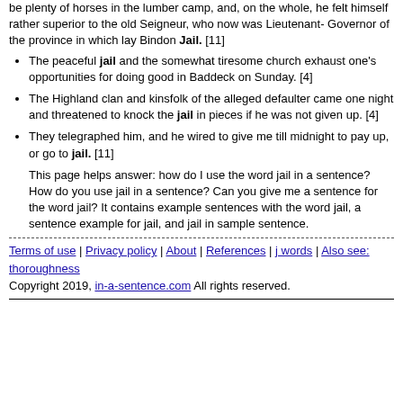be plenty of horses in the lumber camp, and, on the whole, he felt himself rather superior to the old Seigneur, who now was Lieutenant- Governor of the province in which lay Bindon Jail. [11]
The peaceful jail and the somewhat tiresome church exhaust one's opportunities for doing good in Baddeck on Sunday. [4]
The Highland clan and kinsfolk of the alleged defaulter came one night and threatened to knock the jail in pieces if he was not given up. [4]
They telegraphed him, and he wired to give me till midnight to pay up, or go to jail. [11]
This page helps answer: how do I use the word jail in a sentence? How do you use jail in a sentence? Can you give me a sentence for the word jail? It contains example sentences with the word jail, a sentence example for jail, and jail in sample sentence.
Terms of use | Privacy policy | About | References | j words | Also see: thoroughness
Copyright 2019, in-a-sentence.com All rights reserved.